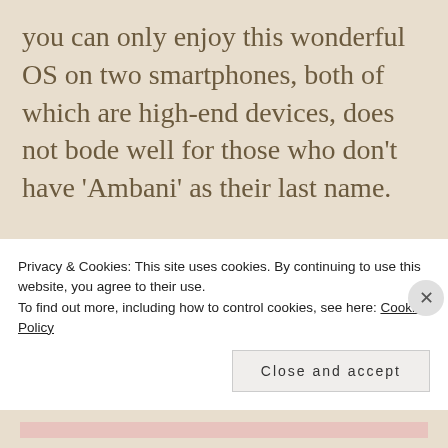you can only enjoy this wonderful OS on two smartphones, both of which are high-end devices, does not bode well for those who don't have 'Ambani' as their last name.
Android today is a completely different animal compared to what it was two years ago. It felt rudimentary, to say the least,
Privacy & Cookies: This site uses cookies. By continuing to use this website, you agree to their use.
To find out more, including how to control cookies, see here: Cookie Policy